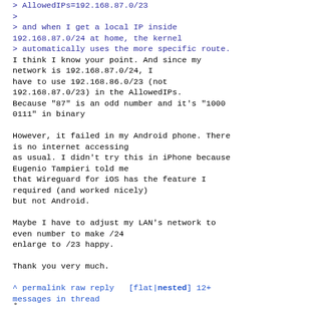> AllowedIPs=192.168.87.0/23
>
> and when I get a local IP inside 192.168.87.0/24 at home, the kernel
> automatically uses the more specific route.
I think I know your point. And since my network is 192.168.87.0/24, I have to use 192.168.86.0/23 (not 192.168.87.0/23) in the AllowedIPs. Because "87" is an odd number and it's "1000 0111" in binary

However, it failed in my Android phone. There is no internet accessing as usual. I didn't try this in iPhone because Eugenio Tampieri told me that Wireguard for iOS has the feature I required (and worked nicely) but not Android.

Maybe I have to adjust my LAN's network to even number to make /24 enlarge to /23 happy.

Thank you very much.
^ permalink raw reply [flat|nested] 12+ messages in thread